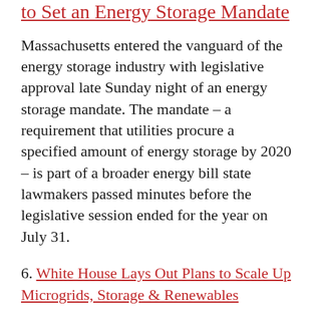to Set an Energy Storage Mandate
Massachusetts entered the vanguard of the energy storage industry with legislative approval late Sunday night of an energy storage mandate. The mandate – a requirement that utilities procure a specified amount of energy storage by 2020 – is part of a broader energy bill state lawmakers passed minutes before the legislative session ended for the year on July 31.
6. White House Lays Out Plans to Scale Up Microgrids, Storage & Renewables
The Obama Administration on Thursday